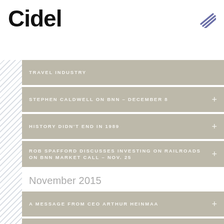[Figure (logo): Cidel company logo with stylized lines icon top right]
TRAVEL INDUSTRY
STEPHEN CALDWELL ON BNN – DECEMBER 8
HISTORY DIDN'T END IN 1989
ROB SPAFFORD DISCUSSES INVESTING ON RAILROADS ON BNN MARKET CALL – NOV. 25
November 2015
A MESSAGE FROM CEO ARTHUR HEINMAA
CONVERSATION SERIES: A LOOK AHEAD
BACK TO THE FUTURE
October 2015